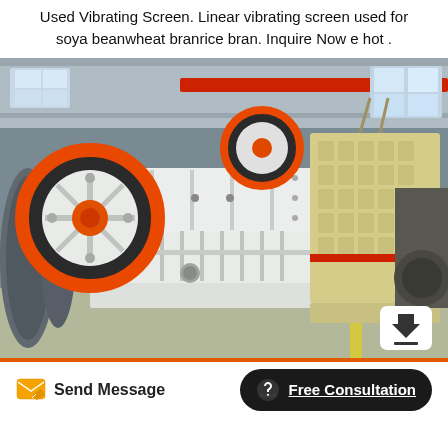Used Vibrating Screen. Linear vibrating screen used for soya beanwheat branrice bran. Inquire Now e hot .
[Figure (photo): Industrial factory floor showing a white jaw crusher with large orange and black flywheel on the left, and a yellow impact crusher on the right, set inside a large manufacturing facility with red overhead crane visible in the background.]
Send Message
Free Consultation